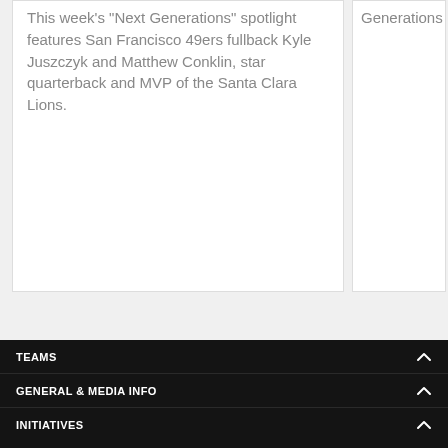This week's "Next Generations" spotlight features San Francisco 49ers fullback Kyle Juszczyk and Matthew Conklin, star quarterback and MVP of the Santa Clara Lions.
Generations
TEAMS
GENERAL & MEDIA INFO
INITIATIVES